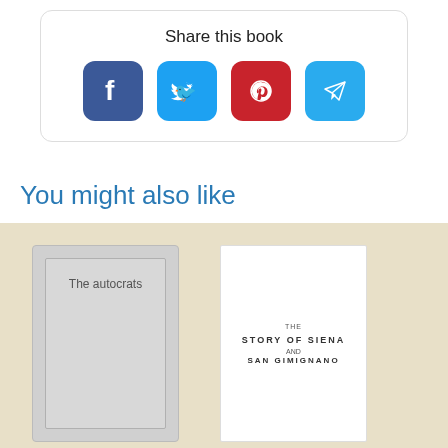Share this book
[Figure (infographic): Social media share icons: Facebook (blue), Twitter (teal), Pinterest (red), Telegram (light blue)]
You might also like
[Figure (illustration): Book cover placeholder for 'The autocrats' - gray card with inner border]
[Figure (illustration): Book cover for 'The Story of Siena and San Gimignano' - white cover with text]